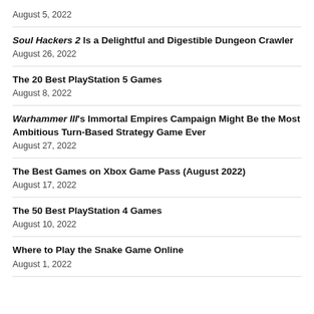August 5, 2022
Soul Hackers 2 Is a Delightful and Digestible Dungeon Crawler
August 26, 2022
The 20 Best PlayStation 5 Games
August 8, 2022
Warhammer III's Immortal Empires Campaign Might Be the Most Ambitious Turn-Based Strategy Game Ever
August 27, 2022
The Best Games on Xbox Game Pass (August 2022)
August 17, 2022
The 50 Best PlayStation 4 Games
August 10, 2022
Where to Play the Snake Game Online
August 1, 2022